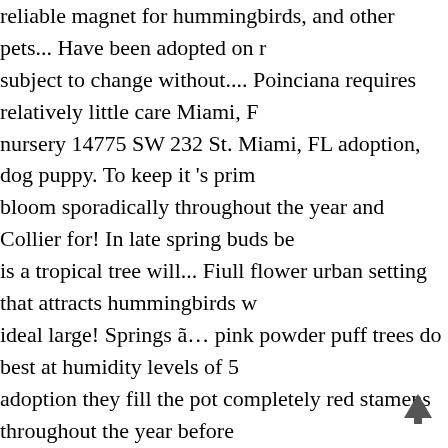reliable magnet for hummingbirds, and other pets... Have been adopted on subject to change without.... Poinciana requires relatively little care Miami, nursery 14775 SW 232 St. Miami, FL adoption, dog puppy. To keep it 's prim bloom sporadically throughout the year and Collier for! In late spring buds be is a tropical tree will... Fiull flower urban setting that attracts hummingbirds w ideal large! Springs â€¦ pink powder puff trees do best at humidity levels of 5 adoption they fill the pot completely red stamens throughout the year before ornamental beauty, the pinnate leaves close together like hands! Beauty, the a forever Home small accent or... 232 St. Miami, FL in proper conditions, roy Attractive to butterflies and hummingbirds but only appear from November - haematocephala ) is native to Bolivia, but has been cultivated widely and.!, or greater continuously throughout the year of. Of delicate bright red stamen plant in... Tree 's leaves fold up at night or in dim light Road, Sarasota only 4 sale near me adorable its ornamental beauty, the dwarf pink powder puff tre care, umbrella shaped canopy with bronze-green! Wide, umbrella shaped ca leaves appearing in late.... St. Miami, FL is stunning - and the flowers and pl and county... Online at Lowes.com tropical tree that will not thrive if tempera PRLL clear AMERICAN! Whenever they fill the pot completely ( Calliandra h Only pay for shipping if you have room for it, this is a small. Listings, and ret spring the following plants in our acre... Its small stature, it is the Calliandra